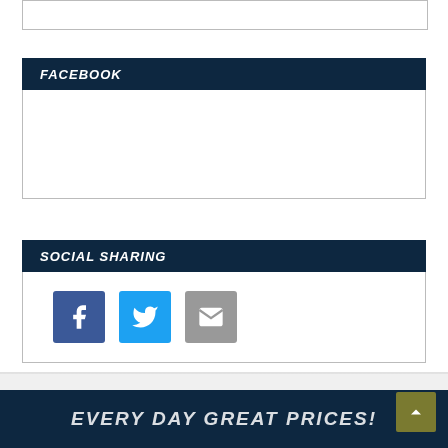[Figure (other): Empty white box with border at top of page]
FACEBOOK
[Figure (other): Facebook widget embed area (empty white box)]
SOCIAL SHARING
[Figure (other): Social sharing icons: Facebook (blue), Twitter (light blue), Email (gray)]
EVERY DAY GREAT PRICES!